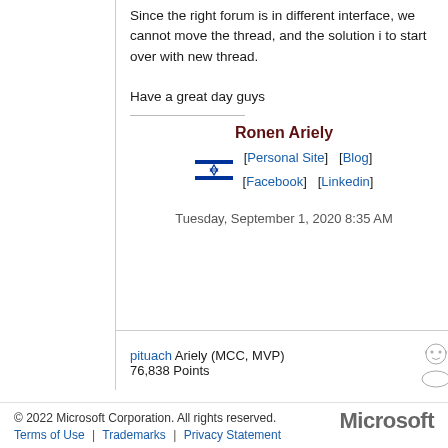Since the right forum is in different interface, we cannot move the thread, and the solution i to start over with new thread.

Have a great day guys
Ronen Ariely
[Personal Site]   [Blog]
[Facebook]    [Linkedin]
Tuesday, September 1, 2020 8:35 AM
pituach Ariely (MCC, MVP)
76,838 Points
© 2022 Microsoft Corporation. All rights reserved.
Terms of Use | Trademarks | Privacy Statement